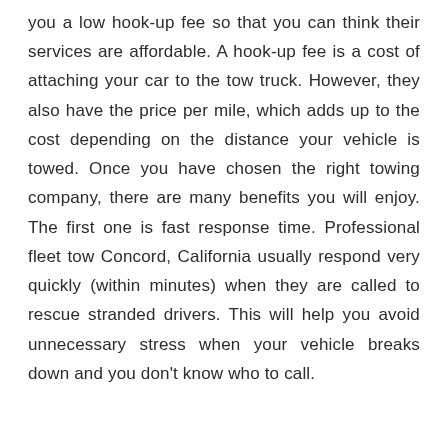you a low hook-up fee so that you can think their services are affordable. A hook-up fee is a cost of attaching your car to the tow truck. However, they also have the price per mile, which adds up to the cost depending on the distance your vehicle is towed. Once you have chosen the right towing company, there are many benefits you will enjoy. The first one is fast response time. Professional fleet tow Concord, California usually respond very quickly (within minutes) when they are called to rescue stranded drivers. This will help you avoid unnecessary stress when your vehicle breaks down and you don't know who to call.